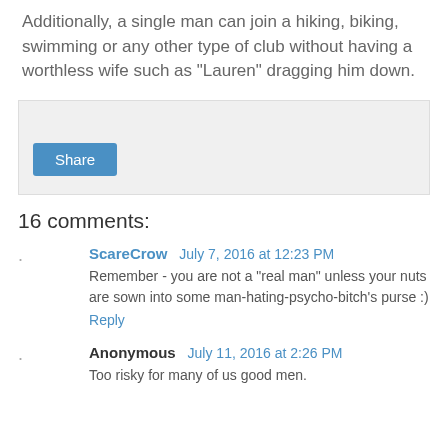Additionally, a single man can join a hiking, biking, swimming or any other type of club without having a worthless wife such as "Lauren" dragging him down.
[Figure (other): Light gray share widget box with a Share button (blue)]
16 comments:
ScareCrow  July 7, 2016 at 12:23 PM
Remember - you are not a "real man" unless your nuts are sown into some man-hating-psycho-bitch's purse :)
Reply
Anonymous  July 11, 2016 at 2:26 PM
Too risky for many of us good men.